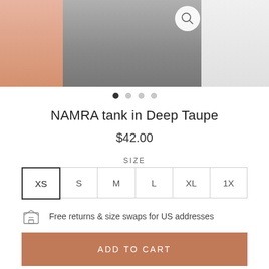[Figure (photo): Product image of NAMRA tank in Deep Taupe - three panel view showing model wearing the item, with a magnifier icon on the center image]
• • • •  (carousel dots, first active)
NAMRA tank in Deep Taupe
$42.00
SIZE
XS  S  M  L  XL  1X
Free returns & size swaps for US addresses
ADD TO CART
The meaning of Namra in Nepalese is loyal - exactly why we named it for our modest summer staple. Wear a normal bra. Everything stays in place so you can love your clothing.